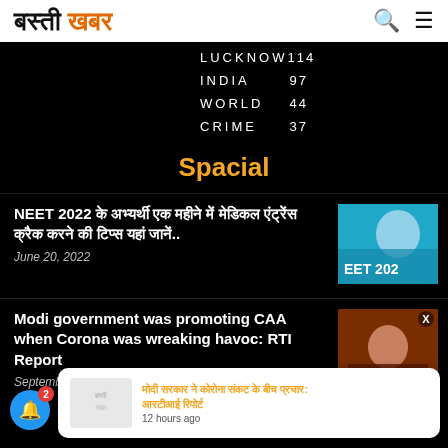बस्ती खबर
| Category | Count |
| --- | --- |
| LUCKNOW | 114 |
| INDIA | 97 |
| WORLD | 44 |
| CRIME | 37 |
Spacial
NEET 2022 के अभ्यर्थी एक महीने में मेडिकल एंट्रेंस क्रैक करने की टिप्स यहां जानें..
June 20, 2022
[Figure (photo): EET 2022 banner with a woman in blue medical attire]
Modi government was promoting CAA when Corona was wreaking havoc: RTI Report
September 6, 2021
[Figure (photo): Photo of Modi speaking at a podium]
मोदी सरकार ने कोरोना संकट के बीच प्रचार: आरटीआई रिपोर्ट — 12 hours ago